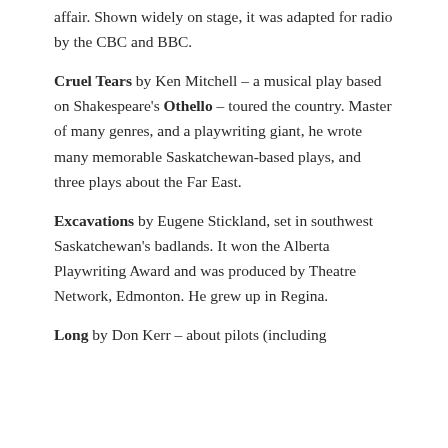affair. Shown widely on stage, it was adapted for radio by the CBC and BBC.
Cruel Tears by Ken Mitchell – a musical play based on Shakespeare's Othello – toured the country. Master of many genres, and a playwriting giant, he wrote many memorable Saskatchewan-based plays, and three plays about the Far East.
Excavations by Eugene Stickland, set in southwest Saskatchewan's badlands. It won the Alberta Playwriting Award and was produced by Theatre Network, Edmonton. He grew up in Regina.
Long by Don Kerr – about pilots (including